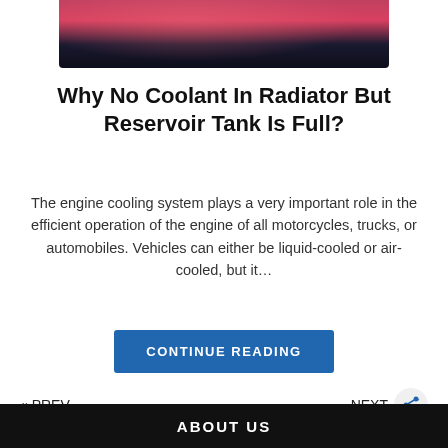[Figure (photo): Partial view of a red/pink coolant reservoir tank in an engine bay, cropped from top]
Why No Coolant In Radiator But Reservoir Tank Is Full?
The engine cooling system plays a very important role in the efficient operation of the engine of all motorcycles, trucks, or automobiles. Vehicles can either be liquid-cooled or air-cooled, but it...
CONTINUE READING
« PREV
NEXT
ABOUT US